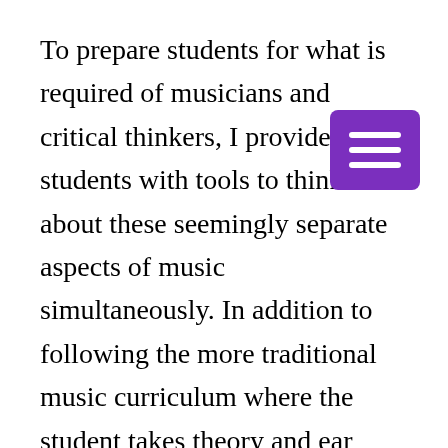To prepare students for what is required of musicians and critical thinkers, I provide students with tools to think about these seemingly separate aspects of music simultaneously. In addition to following the more traditional music curriculum where the student takes theory and ear training, history, piano, and their primary instrument and/or specialty, I synthesize these “independent” subjects into each class by taking various slants using each musical skill.
[Figure (other): Purple hamburger menu button with three white horizontal lines]